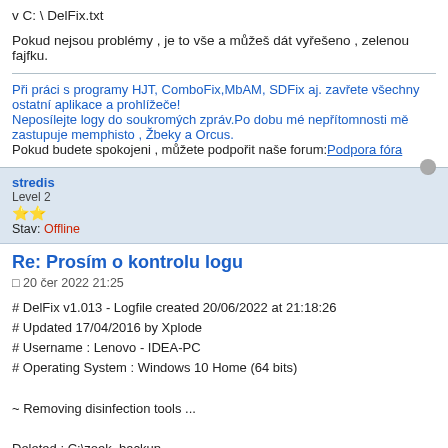v C: \ DelFix.txt
Pokud nejsou problémy , je to vše a můžeš dát vyřešeno , zelenou fajfku.
Při práci s programy HJT, ComboFix,MbAM, SDFix aj. zavřete všechny ostatní aplikace a prohlížeče!
Neposílejte logy do soukromých zpráv.Po dobu mé nepřítomnosti mě zastupuje memphisto , Žbeky a Orcus.
Pokud budete spokojeni , můžete podpořit naše forum:Podpora fóra
stredis
Level 2
★★
Stav: Offline
Re: Prosím o kontrolu logu
20 čer 2022 21:25
# DelFix v1.013 - Logfile created 20/06/2022 at 21:18:26
# Updated 17/04/2016 by Xplode
# Username : Lenovo - IDEA-PC
# Operating System : Windows 10 Home (64 bits)

~ Removing disinfection tools ...

Deleted : C:\zoek_backup
Deleted : C:\AdwCleaner